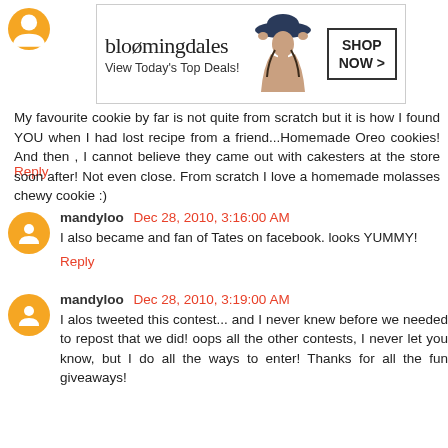[Figure (other): Bloomingdale's advertisement banner: 'View Today's Top Deals!' with woman in hat and SHOP NOW > button]
My favourite cookie by far is not quite from scratch but it is how I found YOU when I had lost recipe from a friend...Homemade Oreo cookies! And then , I cannot believe they came out with cakesters at the store soon after! Not even close. From scratch I love a homemade molasses chewy cookie :)
Reply
mandyloo Dec 28, 2010, 3:16:00 AM
I also became and fan of Tates on facebook. looks YUMMY!
Reply
mandyloo Dec 28, 2010, 3:19:00 AM
I alos tweeted this contest... and I never knew before we needed to repost that we did! oops all the other contests, I never let you know, but I do all the ways to enter! Thanks for all the fun giveaways!